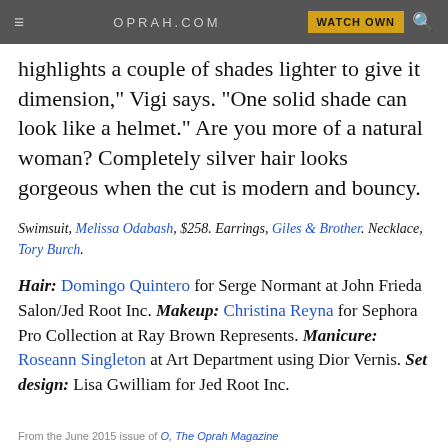≡  OPRAH.COM  WATCH OWN 🔍
highlights a couple of shades lighter to give it dimension," Vigi says. "One solid shade can look like a helmet." Are you more of a natural woman? Completely silver hair looks gorgeous when the cut is modern and bouncy.
Swimsuit, Melissa Odabash, $258. Earrings, Giles & Brother. Necklace, Tory Burch.
Hair: Domingo Quintero for Serge Normant at John Frieda Salon/Jed Root Inc. Makeup: Christina Reyna for Sephora Pro Collection at Ray Brown Represents. Manicure: Roseann Singleton at Art Department using Dior Vernis. Set design: Lisa Gwilliam for Jed Root Inc.
From the June 2015 issue of O, The Oprah Magazine